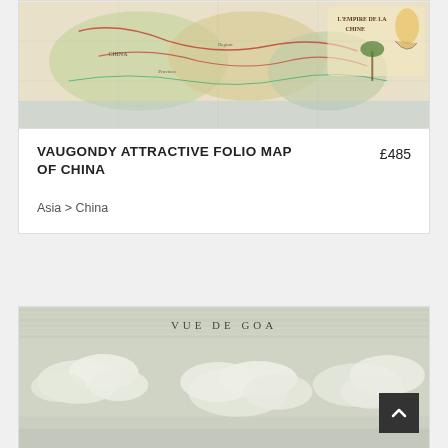[Figure (photo): Antique colorful folio map of China by Vaugondy, showing regional boundaries, decorative cartouche in upper right with figures]
VAUGONDY ATTRACTIVE FOLIO MAP OF CHINA
£485
Asia > China
[Figure (photo): Antique engraving titled 'VUE DE GOA' showing cloudy sky scene in muted grey tones, panoramic view]